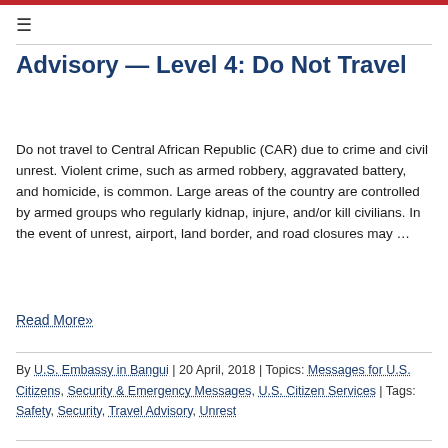Advisory — Level 4: Do Not Travel
Do not travel to Central African Republic (CAR) due to crime and civil unrest. Violent crime, such as armed robbery, aggravated battery, and homicide, is common. Large areas of the country are controlled by armed groups who regularly kidnap, injure, and/or kill civilians. In the event of unrest, airport, land border, and road closures may …
Read More»
By U.S. Embassy in Bangui | 20 April, 2018 | Topics: Messages for U.S. Citizens, Security & Emergency Messages, U.S. Citizen Services | Tags: Safety, Security, Travel Advisory, Unrest